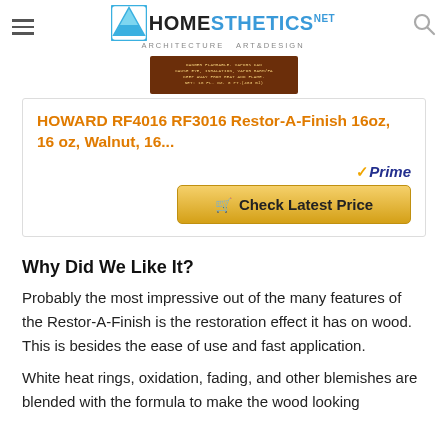HOMESTHETICS - ARCHITECTURE ART&DESIGN
[Figure (photo): Product image of Howard RF4016 RF3016 Restor-A-Finish bottle label in brown/dark red color with gold text]
HOWARD RF4016 RF3016 Restor-A-Finish 16oz, 16 oz, Walnut, 16...
[Figure (logo): Amazon Prime badge with checkmark]
Check Latest Price
Why Did We Like It?
Probably the most impressive out of the many features of the Restor-A-Finish is the restoration effect it has on wood. This is besides the ease of use and fast application.
White heat rings, oxidation, fading, and other blemishes are blended with the formula to make the wood looking